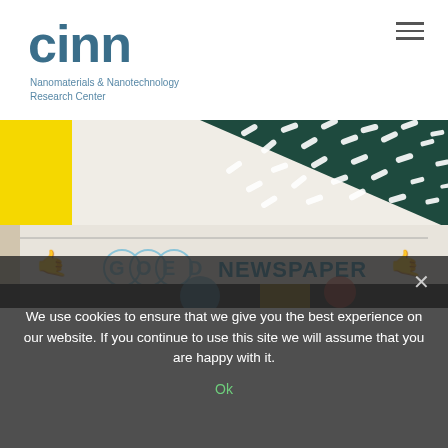[Figure (logo): CINN logo with text 'cinn' in large teal/slate blue font, subtitle 'Nanomaterials & Nanotechnology Research Center']
[Figure (photo): A photograph showing a colorful abstract design with yellow rectangle on dark teal background with white dash marks, and below it a newspaper/magazine page showing 'GOED NEWSPAPER' logo with hand gesture icons on either side. Bottom portion shows colorful geometric shapes.]
We use cookies to ensure that we give you the best experience on our website. If you continue to use this site we will assume that you are happy with it.
Ok